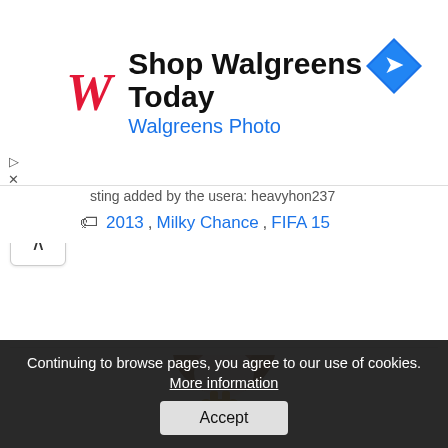[Figure (other): Walgreens advertisement banner with red cursive W logo, text 'Shop Walgreens Today' and 'Walgreens Photo', and blue navigation diamond icon on right]
sting added by the usera: heavyhon237
2013, Milky Chance, FIFA 15
[Figure (logo): Lyrics-24 website logo: cartoon owl sitting above large teal/green bold text 'LYRICS-24']
Continuing to browse pages, you agree to our use of cookies. More information
Accept